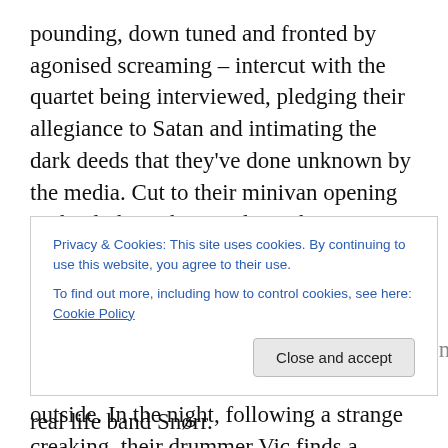pounding, down tuned and fronted by agonised screaming – intercut with the quartet being interviewed, pledging their allegiance to Satan and intimating the dark deeds that they've done unknown by the media. Cut to their minivan opening in the dark, in the woods, in the snow, to much complaining about the cold and the cramped, dilapidated accommodation they have to stay in. Before you know it they're fighting over the top bunk and the last sausage and jumping at the wind outside. In the night, following a strange creaking, their drummer Vic finds a hidden door that leads to the basement and in the basement is a
Privacy & Cookies: This site uses cookies. By continuing to use this website, you agree to their use.
To find out more, including how to control cookies, see here: Cookie Policy
real life band Snørr.